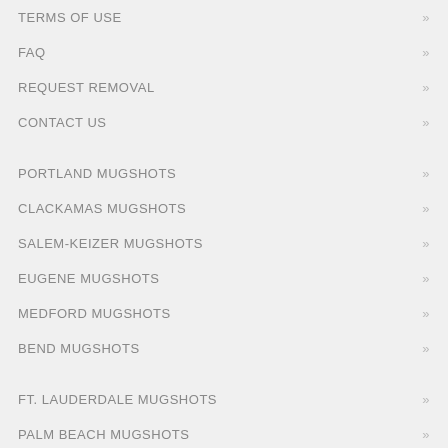TERMS OF USE
FAQ
REQUEST REMOVAL
CONTACT US
PORTLAND MUGSHOTS
CLACKAMAS MUGSHOTS
SALEM-KEIZER MUGSHOTS
EUGENE MUGSHOTS
MEDFORD MUGSHOTS
BEND MUGSHOTS
FT. LAUDERDALE MUGSHOTS
PALM BEACH MUGSHOTS
ORLANDO MUGSHOTS